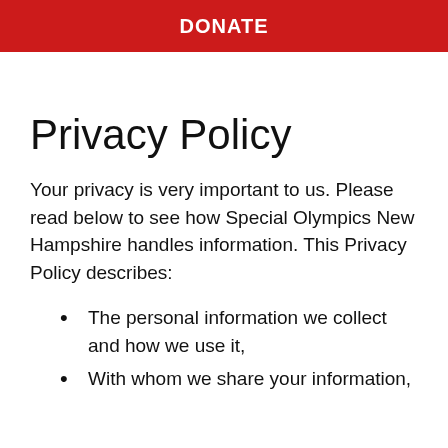DONATE
Privacy Policy
Your privacy is very important to us. Please read below to see how Special Olympics New Hampshire handles information. This Privacy Policy describes:
The personal information we collect and how we use it,
With whom we share your information,